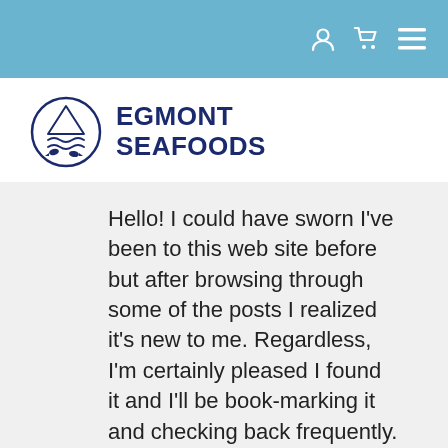[Figure (logo): Egmont Seafoods logo: circular badge with mountain, waves, and fish icon next to bold text 'EGMONT SEAFOODS' in dark navy]
Hello! I could have sworn I've been to this web site before but after browsing through some of the posts I realized it's new to me. Regardless, I'm certainly pleased I found it and I'll be book-marking it and checking back frequently.